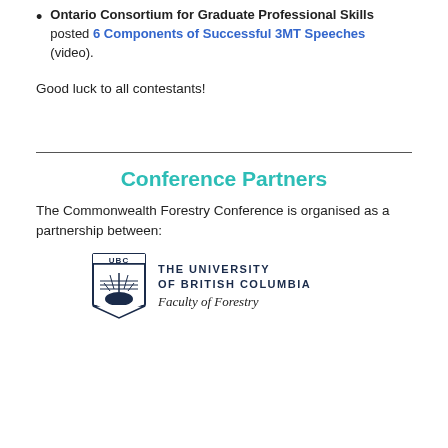Ontario Consortium for Graduate Professional Skills posted 6 Components of Successful 3MT Speeches (video).
Good luck to all contestants!
Conference Partners
The Commonwealth Forestry Conference is organised as a partnership between:
[Figure (logo): UBC shield logo with text THE UNIVERSITY OF BRITISH COLUMBIA Faculty of Forestry]